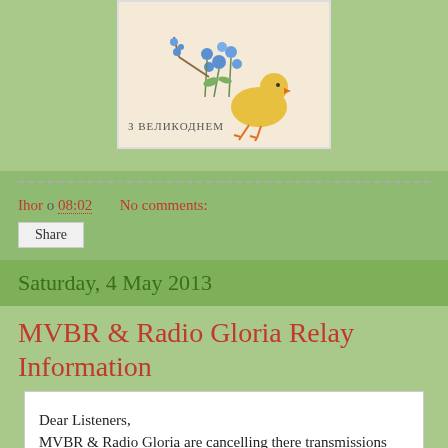[Figure (illustration): Vintage Easter postcard with a chick and blue flowers, text in Ukrainian reading З ВЕЛИКОДНЕМ (Happy Easter)]
Ihor о 08:02   No comments:
Share
Saturday, 4 May 2013
MVBR & Radio Gloria Relay Information
Dear Listeners,
MVBR & Radio Gloria are cancelling there transmissions tomorrow on 7265 & 9480 KHz